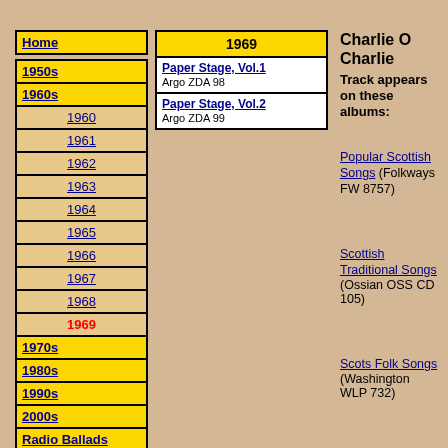Home
1950s
1960s
1960
1961
1962
1963
1964
1965
1966
1967
1968
1969
1970s
1980s
1990s
2000s
Radio Ballads
Charlie O Charlie
Track appears on these albums:
1969
Paper Stage, Vol.1
Argo ZDA 98
Paper Stage, Vol.2
Argo ZDA 99
Popular Scottish Songs (Folkways FW 8757)
Scottish Traditional Songs (Ossian OSS CD 105)
Scots Folk Songs (Washington WLP 732)